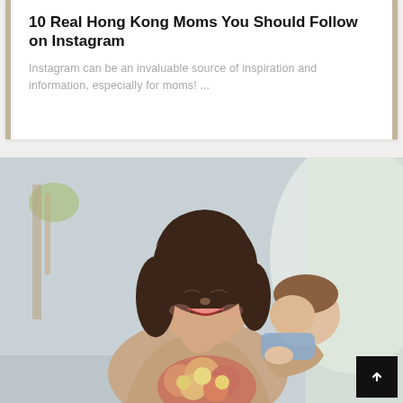10 Real Hong Kong Moms You Should Follow on Instagram
Instagram can be an invaluable source of inspiration and information, especially for moms! ...
[Figure (photo): A smiling young woman with dark shoulder-length hair holding a young toddler who is resting their head on her shoulder. The woman holds a bouquet of pink and yellow flowers. The background is a bright, softly blurred indoor room.]